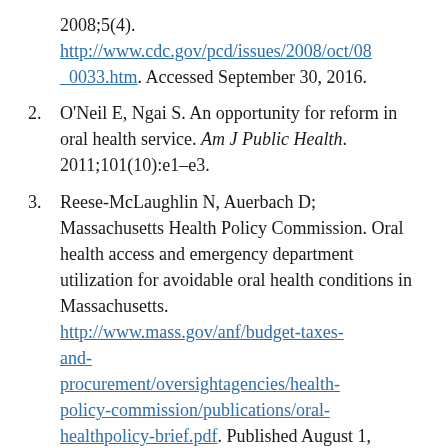2008;5(4). http://www.cdc.gov/pcd/issues/2008/oct/08_0033.htm. Accessed September 30, 2016.
2. O'Neil E, Ngai S. An opportunity for reform in oral health service. Am J Public Health. 2011;101(10):e1-e3.
3. Reese-McLaughlin N, Auerbach D; Massachusetts Health Policy Commission. Oral health access and emergency department utilization for avoidable oral health conditions in Massachusetts. http://www.mass.gov/anf/budget-taxes-and-procurement/oversightagencies/health-policy-commission/publications/oral-healthpolicy-brief.pdf. Published August 1,